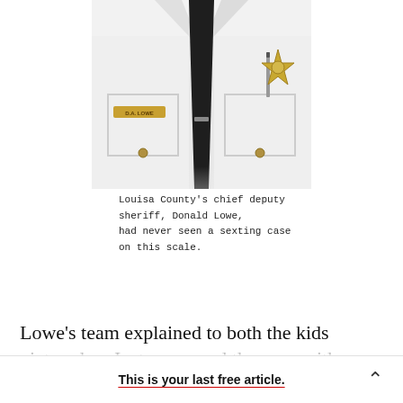[Figure (photo): Close-up photo of a uniformed law enforcement officer (sheriff's deputy) showing white shirt, dark tie, badge, nameplate reading 'D.A. LOWE', and pocket pen. Only the torso is visible.]
Louisa County's chief deputy sheriff, Donald Lowe, had never seen a sexting case on this scale.
Lowe's team explained to both the kids pictured on Instagram and the ones with photos on their phones the serious legal consequences of their
This is your last free article.